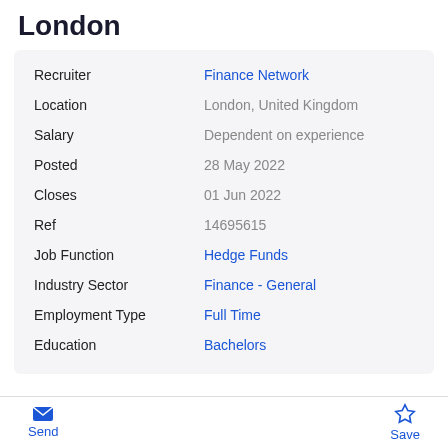London
| Field | Value |
| --- | --- |
| Recruiter | Finance Network |
| Location | London, United Kingdom |
| Salary | Dependent on experience |
| Posted | 28 May 2022 |
| Closes | 01 Jun 2022 |
| Ref | 14695615 |
| Job Function | Hedge Funds |
| Industry Sector | Finance - General |
| Employment Type | Full Time |
| Education | Bachelors |
Send  Save